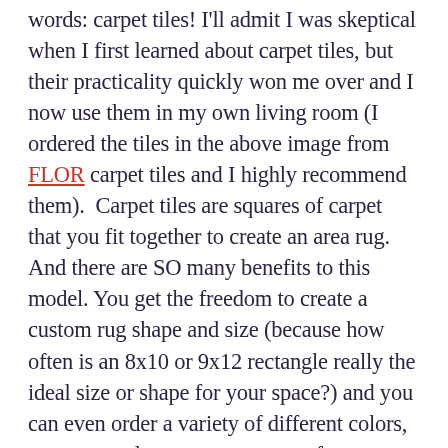words: carpet tiles! I'll admit I was skeptical when I first learned about carpet tiles, but their practicality quickly won me over and I now use them in my own living room (I ordered the tiles in the above image from FLOR carpet tiles and I highly recommend them).  Carpet tiles are squares of carpet that you fit together to create an area rug.  And there are SO many benefits to this model. You get the freedom to create a custom rug shape and size (because how often is an 8x10 or 9x12 rectangle really the ideal size or shape for your space?) and you can even order a variety of different colors, patterns, and textures to create a fun custom design.  But the best part about choosing carpet tiles is that if you have a spill, you only need to replace one tile instead of dealing with the whole rug.  At $10-30 bucks per tile, that's a pretty sweet deal in my book. Opting for carpet tiles in my living room has kept me (semi)sane when the puppy runs around with muddy